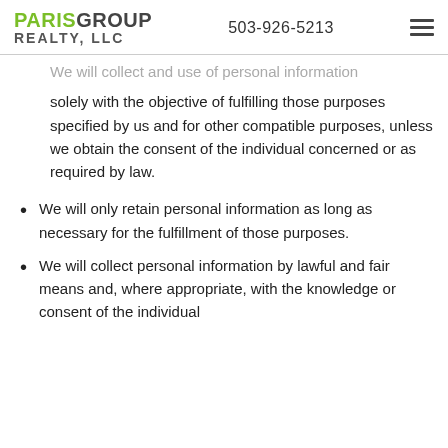PARIS GROUP REALTY, LLC  503-926-5213
We will collect and use of personal information solely with the objective of fulfilling those purposes specified by us and for other compatible purposes, unless we obtain the consent of the individual concerned or as required by law.
We will only retain personal information as long as necessary for the fulfillment of those purposes.
We will collect personal information by lawful and fair means and, where appropriate, with the knowledge or consent of the individual